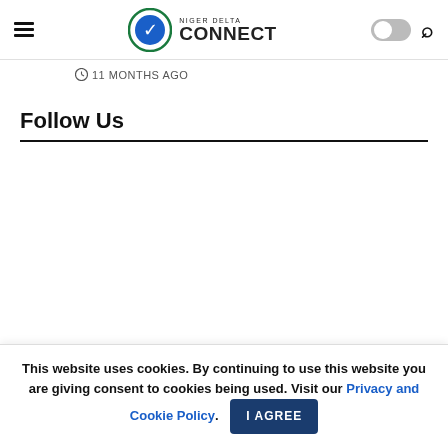Niger Delta Connect
11 MONTHS AGO
Follow Us
This website uses cookies. By continuing to use this website you are giving consent to cookies being used. Visit our Privacy and Cookie Policy. I Agree